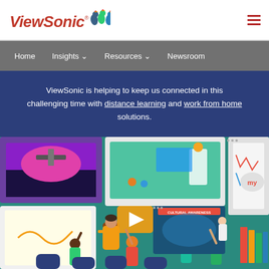ViewSonic
Home  Insights  Resources  Newsroom
ViewSonic is helping to keep us connected in this challenging time with distance learning and work from home solutions.
[Figure (illustration): Illustrated classroom scene showing students and a teacher surrounded by various digital screens and learning applications in a colorful flat-design style]